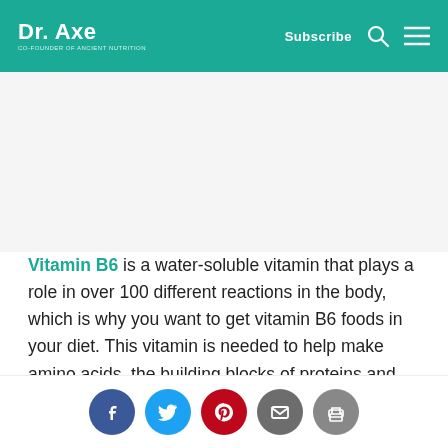Dr. Axe — Subscribe
Vitamin B6 is a water-soluble vitamin that plays a role in over 100 different reactions in the body, which is why you want to get vitamin B6 foods in your diet. This vitamin is needed to help make amino acids, the building blocks of proteins and hundreds of cellular functions. It can also be used
Social share buttons: Facebook, Twitter, Pinterest, Email, Print